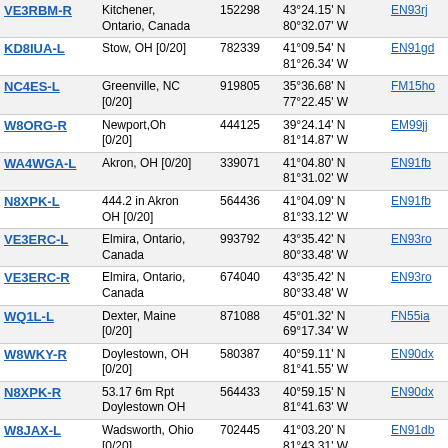| Callsign | Location | ID | Coordinates | Grid | Freq | Link |
| --- | --- | --- | --- | --- | --- | --- |
| VE3RBM-R | Kitchener, Ontario, Canada | 152298 | 43°24.15' N 80°32.07' W | EN93rj | 383.5 | 444.87 |
| KD8IUA-L | Stow, OH [0/20] | 782339 | 41°09.54' N 81°26.34' W | EN91gd | 384.7 |  |
| NC4ES-L | Greenville, NC [0/20] | 919805 | 35°36.68' N 77°22.45' W | FM15ho | 385.4 |  |
| W8ORG-R | Newport,Oh [0/20] | 444125 | 39°24.14' N 81°14.87' W | EM99jj | 385.8 |  |
| WA4WGA-L | Akron, OH [0/20] | 339071 | 41°04.80' N 81°31.02' W | EN91fb | 388.5 |  |
| N8XPK-L | 444.2 in Akron OH [0/20] | 564436 | 41°04.09' N 81°33.12' W | EN91fb | 390.2 |  |
| VE3ERC-L | Elmira, Ontario, Canada | 993792 | 43°35.42' N 80°33.48' W | EN93ro | 390.9 | 444.70 |
| VE3ERC-R | Elmira, Ontario, Canada | 674040 | 43°35.42' N 80°33.48' W | EN93ro | 390.9 | 147.39 |
| WQ1L-L | Dexter, Maine [0/20] | 871088 | 45°01.32' N 69°17.34' W | FN55ia | 394.0 |  |
| W8WKY-R | Doylestown, OH [0/20] | 580387 | 40°59.11' N 81°41.55' W | EN90dx | 397.3 | 147.39 |
| N8XPK-R | 53.17 6m Rpt Doylestown OH | 564433 | 40°59.15' N 81°41.63' W | EN90dx | 397.4 |  |
| W8JAX-L | Wadsworth, Ohio [0/20] | 702445 | 41°03.20' N 81°43.31' W | EN91db | 399.0 |  |
About This Page